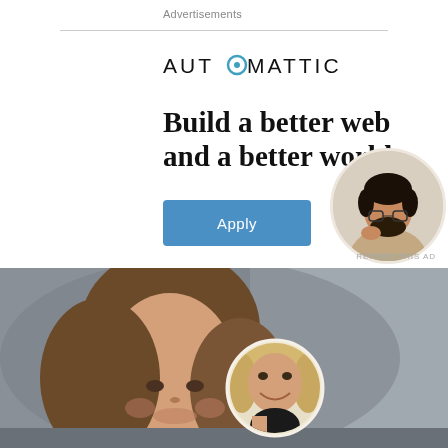Advertisements
[Figure (logo): Automattic logo with stylized O]
Build a better web and a better world.
[Figure (illustration): Apply button (blue, rounded rectangle)]
[Figure (photo): Circular portrait photo of a man thinking, seated at a desk]
REPORT THIS AD
[Figure (photo): Background photo of a smiling woman with long brown hair, with a circular inset portrait of a blonde woman]